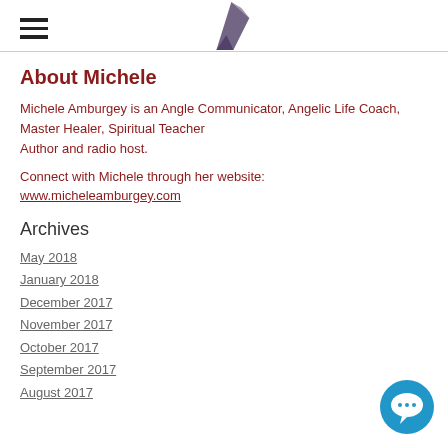[Figure (logo): Hamburger menu icon (three horizontal lines) on the left, and a small triangular logo image in the center of the header]
About Michele
Michele Amburgey is an Angle Communicator, Angelic Life Coach, Master Healer, Spiritual Teacher Author and radio host.
Connect with Michele through her website:
www.micheleamburgey.com
Archives
May 2018
January 2018
December 2017
November 2017
October 2017
September 2017
August 2017
[Figure (illustration): Blue circular chat/speech bubble icon in the bottom right corner]